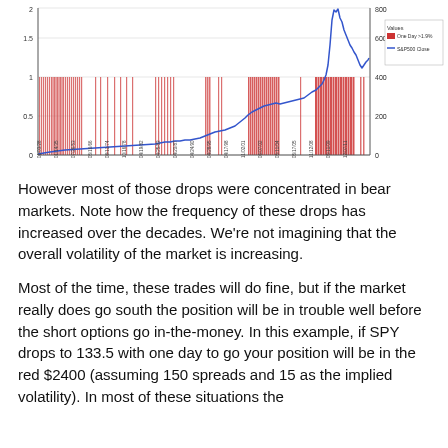[Figure (continuous-plot): Dual-axis time series chart showing S&P500 Close (blue line, right axis 0-800) and One Day >1.9% drops (red vertical bars, left axis 0-2) from approximately 1928 to 2012. Red bars cluster heavily in bear market periods. Legend shows 'Values', 'One Day >1.9%' (red), 'S&P500 Close' (blue).]
However most of those drops were concentrated in bear markets.  Note how the frequency of these drops has increased over the decades.  We're not imagining that the overall volatility of the market is increasing.
Most of the time, these trades will do fine, but if the market really does go south the position will be in trouble well before the short options go in-the-money.  In this example, if SPY drops to 133.5 with one day to go your position will be in the red $2400 (assuming 150 spreads and 15 as the implied volatility).  In most of these situations the